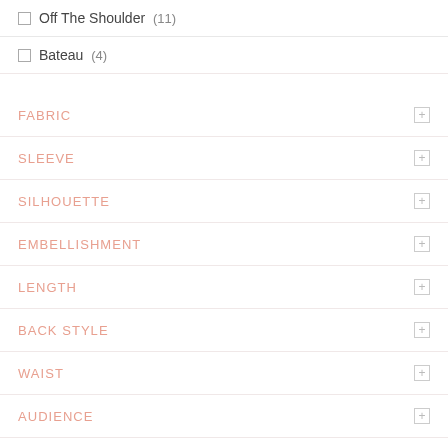Off The Shoulder (11)
Bateau (4)
FABRIC
SLEEVE
SILHOUETTE
EMBELLISHMENT
LENGTH
BACK STYLE
WAIST
AUDIENCE